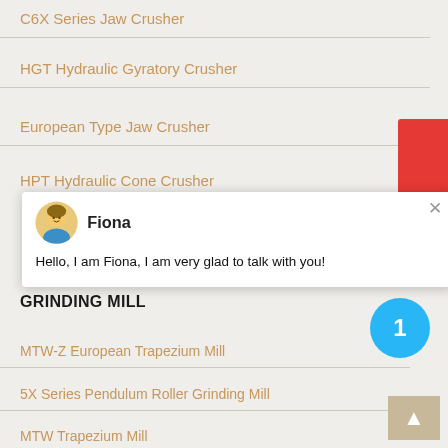C6X Series Jaw Crusher
HGT Hydraulic Gyratory Crusher
European Type Jaw Crusher
HPT Hydraulic Cone Crusher
[Figure (screenshot): Chat popup with avatar of Fiona, name 'Fiona', and message 'Hello, I am Fiona, I am very glad to talk with you!' with a close button]
GRINDING MILL
MTW-Z European Trapezium Mill
5X Series Pendulum Roller Grinding Mill
MTW Trapezium Mill